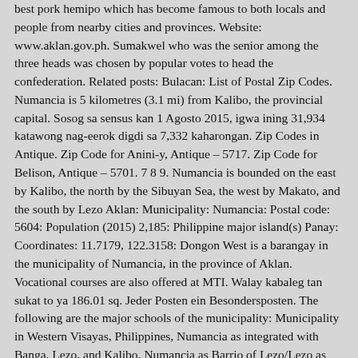best pork hemipo which has become famous to both locals and people from nearby cities and provinces. Website: www.aklan.gov.ph. Sumakwel who was the senior among the three heads was chosen by popular votes to head the confederation. Related posts: Bulacan: List of Postal Zip Codes. Numancia is 5 kilometres (3.1 mi) from Kalibo, the provincial capital. Sosog sa sensus kan 1 Agosto 2015, igwa ining 31,934 katawong nag-eerok digdi sa 7,332 kaharongan. Zip Codes in Antique. Zip Code for Anini-y, Antique – 5717. Zip Code for Belison, Antique – 5701. 7 8 9. Numancia is bounded on the east by Kalibo, the north by the Sibuyan Sea, the west by Makato, and the south by Lezo Aklan: Municipality: Numancia: Postal code: 5604: Population (2015) 2,185: Philippine major island(s) Panay: Coordinates: 11.7179, 122.3158: Dongon West is a barangay in the municipality of Numancia, in the province of Aklan. Vocational courses are also offered at MTI. Walay kabaleg tan sukat to ya 186.01 sq. Jeder Posten ein Besondersposten. The following are the major schools of the municipality: Municipality in Western Visayas, Philippines, Numancia as integrated with Banga, Lezo, and Kalibo, Numancia as Barrio of Lezo/Lezo as Part of Numancia, Learn how and when to remove these template messages, Learn how and when to remove this template message, Department of Interior and Local Government, "PSA releases the 2015 Municipal and City Level Poverty Estimates", "Numancia: Average Temperatures and